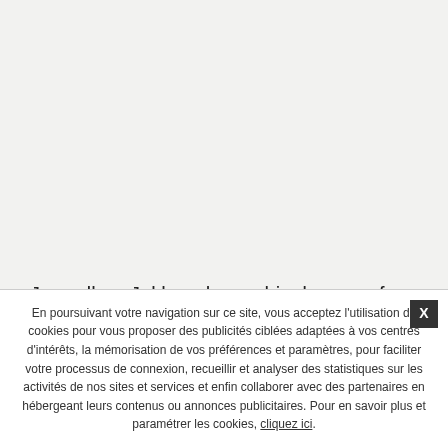Janardhan Jakhar chases his dreams of becoming a big Rock star, during which he falls in love … Trending Hindi Movies and Shows … Nargis Fakri, the lead actress had a face a lot of media flak for her accent in jab for her…
En poursuivant votre navigation sur ce site, vous acceptez l'utilisation de cookies pour vous proposer des publicités ciblées adaptées à vos centres d'intérêts, la mémorisation de vos préférences et paramètres, pour faciliter votre processus de connexion, recueillir et analyser des statistiques sur les activités de nos sites et services et enfin collaborer avec des partenaires en hébergeant leurs contenus ou annonces publicitaires. Pour en savoir plus et paramétrer les cookies, cliquez ici.